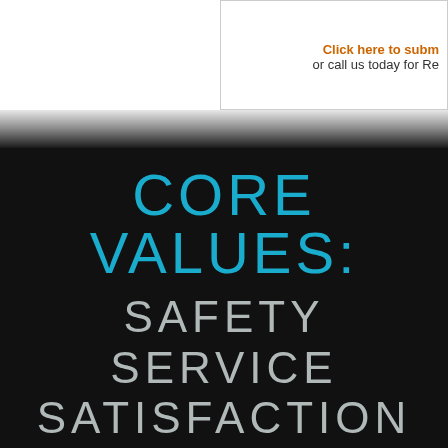Click here to subm
or call us today for Re
CORE VALUES:
SAFETY
SERVICE
SATISFACTION